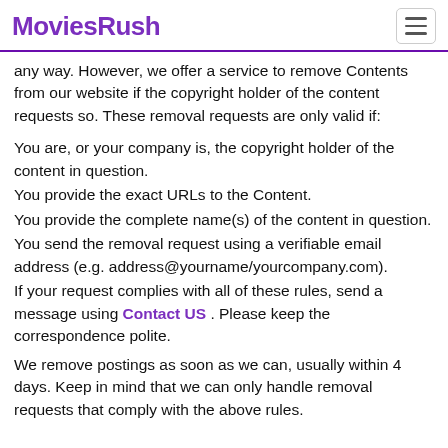MoviesRush
any way. However, we offer a service to remove Contents from our website if the copyright holder of the content requests so. These removal requests are only valid if:
You are, or your company is, the copyright holder of the content in question.
You provide the exact URLs to the Content.
You provide the complete name(s) of the content in question.
You send the removal request using a verifiable email address (e.g. address@yourname/yourcompany.com).
If your request complies with all of these rules, send a message using Contact US . Please keep the correspondence polite.
We remove postings as soon as we can, usually within 4 days. Keep in mind that we can only handle removal requests that comply with the above rules.